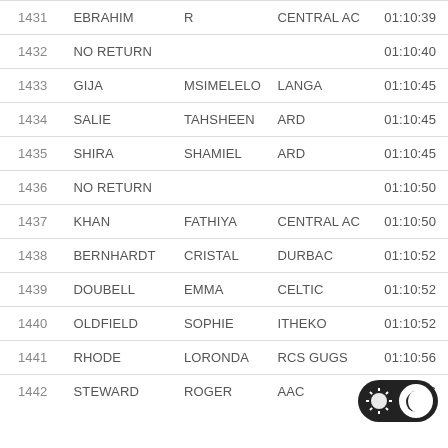| # | Last Name | First Name | Club | Time |
| --- | --- | --- | --- | --- |
| 1431 | EBRAHIM | R | CENTRAL AC | 01:10:39 |
| 1432 | NO RETURN |  |  | 01:10:40 |
| 1433 | GIJA | MSIMELELO | LANGA | 01:10:45 |
| 1434 | SALIE | TAHSHEEN | ARD | 01:10:45 |
| 1435 | SHIRA | SHAMIEL | ARD | 01:10:45 |
| 1436 | NO RETURN |  |  | 01:10:50 |
| 1437 | KHAN | FATHIYA | CENTRAL AC | 01:10:50 |
| 1438 | BERNHARDT | CRISTAL | DURBAC | 01:10:52 |
| 1439 | DOUBELL | EMMA | CELTIC | 01:10:52 |
| 1440 | OLDFIELD | SOPHIE | ITHEKO | 01:10:52 |
| 1441 | RHODE | LORONDA | RCS GUGS | 01:10:56 |
| 1442 | STEWARD | ROGER | AAC | 01:10:56 |